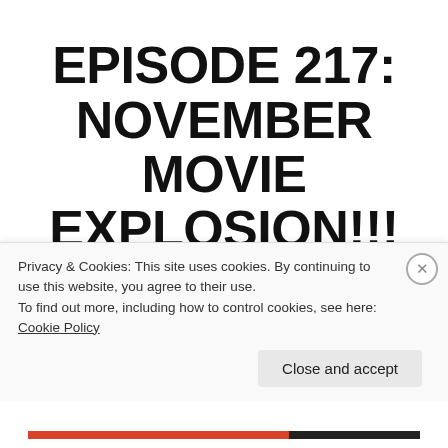EPISODE 217: NOVEMBER MOVIE EXPLOSION!!!
December 12, 2021 — Leave a comment
In Episode 217 of The Hodgepodge Podcast, Doug and Dirty A discuss a slew
Privacy & Cookies: This site uses cookies. By continuing to use this website, you agree to their use.
To find out more, including how to control cookies, see here: Cookie Policy
Close and accept